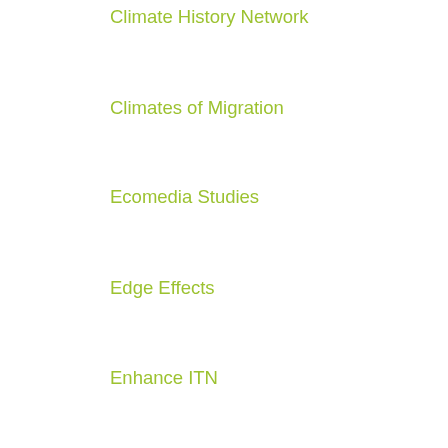Climate History Network
Climates of Migration
Ecomedia Studies
Edge Effects
Enhance ITN
Environment & Society Portal
Environmental History Resources
immanence
Inhabiting the Anthropocene
Land Lines: British Nature Writing, 1789-2014
NiCHE blogs
Peeling Back the Bark